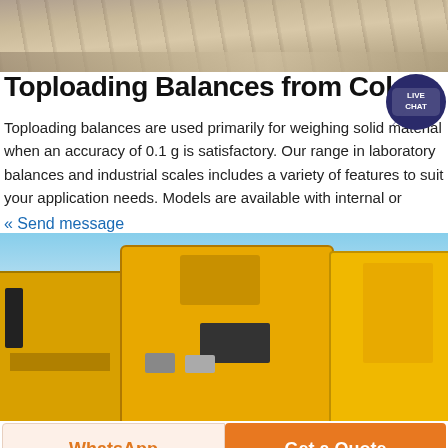[Figure (photo): Top photo showing a construction/earthmoving site with dirt/gravel ground and heavy equipment in the background]
Toploading Balances from Cole
[Figure (other): Live Chat badge — circular dark navy icon with speech bubble and text LIVE CHAT]
Toploading balances are used primarily for weighing solid material when an accuracy of 0.1 g is satisfactory. Our range in laboratory balances and industrial scales includes a variety of features to suit your application needs. Models are available with internal or
« Send message
[Figure (photo): Photo of large yellow industrial/construction machinery (wheel loaders or similar heavy equipment) lined up outdoors under a blue sky]
WhatsApp
Get a Quote